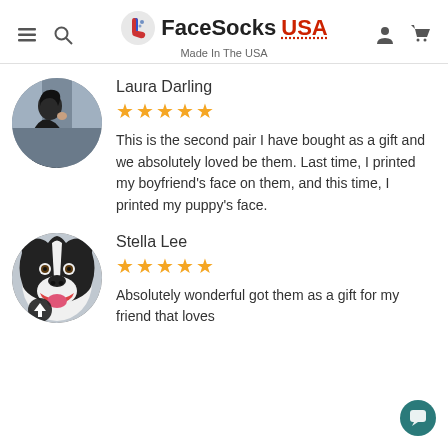FaceSocks USA — Made In The USA
[Figure (photo): Circular avatar of a woman sitting at a cafe, side profile, dark hair, holding phone]
Laura Darling
★★★★★
This is the second pair I have bought as a gift and we absolutely loved be them. Last time, I printed my boyfriend's face on them, and this time, I printed my puppy's face.
[Figure (photo): Circular avatar of a black and white dog (border collie type) looking at camera with mouth open, with an upload arrow icon overlay at bottom]
Stella Lee
★★★★★
Absolutely wonderful got them as a gift for my friend that loves